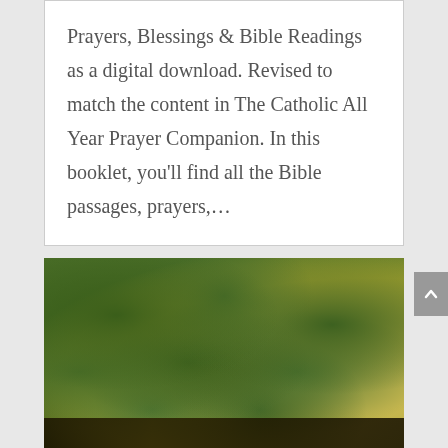Prayers, Blessings & Bible Readings as a digital download. Revised to match the content in The Catholic All Year Prayer Companion. In this booklet, you'll find all the Bible passages, prayers,...
[Figure (photo): A close-up photo of a dense green hedge or bush, with dark foliage filling most of the frame. The bottom of the image is very dark, possibly showing ground or shadow. A bright yellowish area is visible on the right side, suggesting sunlit background.]